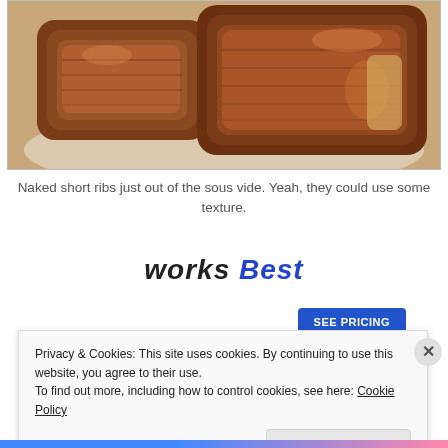[Figure (photo): Photo of cooked short ribs on a white plate, fresh out of sous vide, showing multiple pieces of braised beef short ribs with a deeply browned crust.]
Naked short ribs just out of the sous vide. Yeah, they could use some texture.
works Best
[Figure (other): Blue 'SEE PRICING' button partially visible]
Privacy & Cookies: This site uses cookies. By continuing to use this website, you agree to their use.
To find out more, including how to control cookies, see here: Cookie Policy
Close and accept